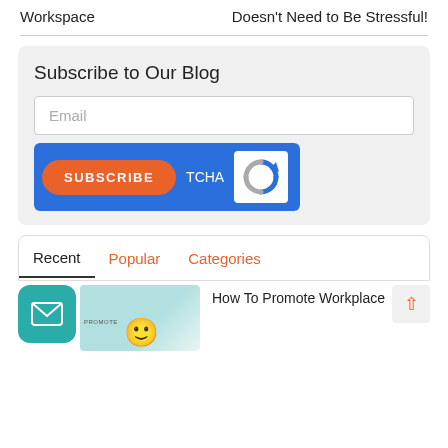Workspace
Doesn't Need to Be Stressful!
Subscribe to Our Blog
Email
SUBSCRIBE
TCHA
[Figure (illustration): reCAPTCHA logo]
Recent
Popular
Categories
[Figure (illustration): Email/mail icon in teal rounded square]
[Figure (illustration): Small thumbnail image of a promotional card with smiley face emoji]
How To Promote Workplace